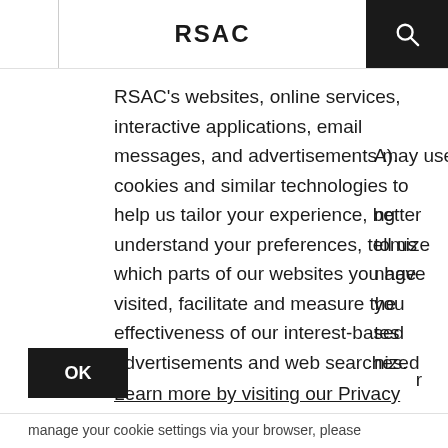RSAC
RSAC's websites, online services, interactive applications, email messages, and advertisements may use cookies and similar technologies to help us tailor your experience, better understand your preferences, tell us which parts of our websites you have visited, facilitate and measure the effectiveness of our interest-based advertisements and web searches. Learn more by visiting our Privacy Policy
OK
manage your cookie settings via your browser, please